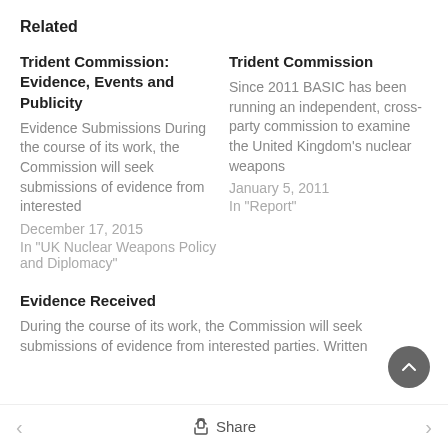Related
Trident Commission: Evidence, Events and Publicity
Evidence Submissions During the course of its work, the Commission will seek submissions of evidence from interested
December 17, 2015
In "UK Nuclear Weapons Policy and Diplomacy"
Trident Commission
Since 2011 BASIC has been running an independent, cross-party commission to examine the United Kingdom's nuclear weapons
January 5, 2011
In "Report"
Evidence Received
During the course of its work, the Commission will seek submissions of evidence from interested parties. Written
< Share >